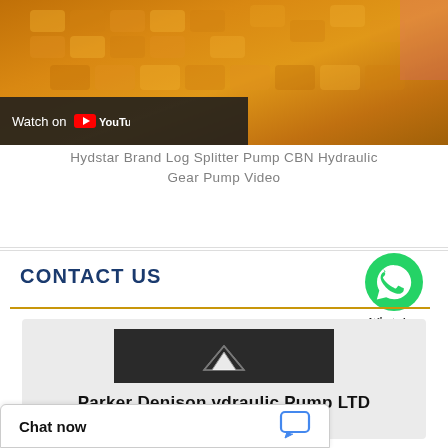[Figure (screenshot): YouTube video thumbnail showing orange hydraulic gear pump parts with 'Watch on YouTube' overlay]
Hydstar Brand Log Splitter Pump CBN Hydraulic Gear Pump Video
CONTACT US
[Figure (screenshot): Company logo bar - Parker Denison vdraulic Pump LTD dark background with angular logo mark]
Parker Denison vdraulic Pump LTD
Chat now